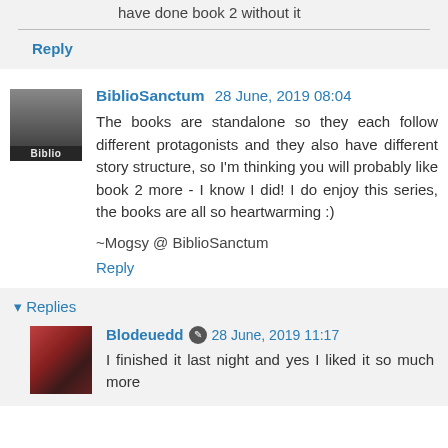have done book 2 without it
Reply
BiblioSanctum 28 June, 2019 08:04
The books are standalone so they each follow different protagonists and they also have different story structure, so I'm thinking you will probably like book 2 more - I know I did! I do enjoy this series, the books are all so heartwarming :)
~Mogsy @ BiblioSanctum
Reply
Replies
Blodeuedd 28 June, 2019 11:17
I finished it last night and yes I liked it so much more